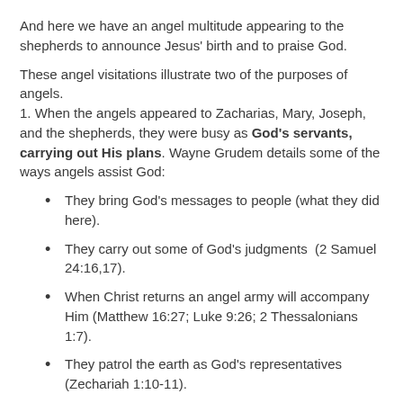And here we have an angel multitude appearing to the shepherds to announce Jesus' birth and to praise God.
These angel visitations illustrate two of the purposes of angels.
1. When the angels appeared to Zacharias, Mary, Joseph, and the shepherds, they were busy as God's servants, carrying out His plans. Wayne Grudem details some of the ways angels assist God:
They bring God's messages to people (what they did here).
They carry out some of God's judgments  (2 Samuel 24:16,17).
When Christ returns an angel army will accompany Him (Matthew 16:27; Luke 9:26; 2 Thessalonians 1:7).
They patrol the earth as God's representatives (Zechariah 1:10-11).
They carry out war against demonic forces